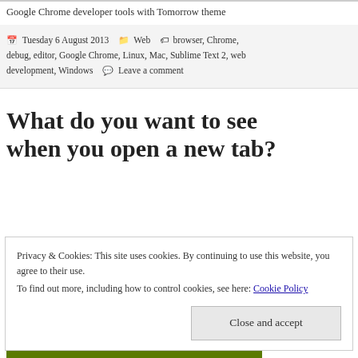Google Chrome developer tools with Tomorrow theme
Tuesday 6 August 2013  Web  browser, Chrome, debug, editor, Google Chrome, Linux, Mac, Sublime Text 2, web development, Windows  Leave a comment
What do you want to see when you open a new tab?
Privacy & Cookies: This site uses cookies. By continuing to use this website, you agree to their use.
To find out more, including how to control cookies, see here: Cookie Policy
Close and accept